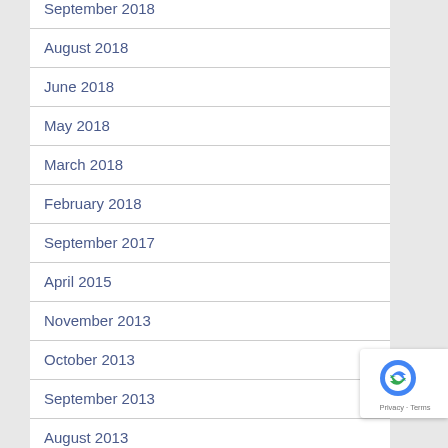September 2018
August 2018
June 2018
May 2018
March 2018
February 2018
September 2017
April 2015
November 2013
October 2013
September 2013
August 2013